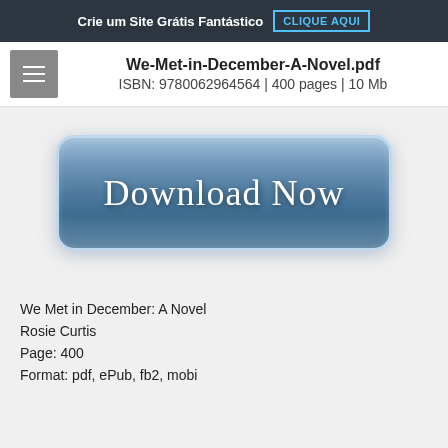Crie um Site Grátis Fantástico  CLIQUE AQUI
We-Met-in-December-A-Novel.pdf
ISBN: 9780062964564 | 400 pages | 10 Mb
[Figure (illustration): A large rounded blue gradient button with text 'Download Now']
We Met in December: A Novel
Rosie Curtis
Page: 400
Format: pdf, ePub, fb2, mobi